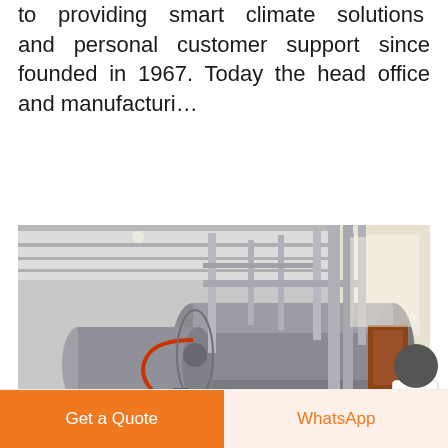to providing smart climate solutions and personal customer support since founded in 1967. Today the head office and manufacturi…
Read More
[Figure (photo): Industrial boiler room with large horizontal cylindrical steel tanks/boilers, overhead pipes, and structural ceiling. Blue pump visible at bottom center. Industrial facility interior.]
Get a Quote
WhatsApp